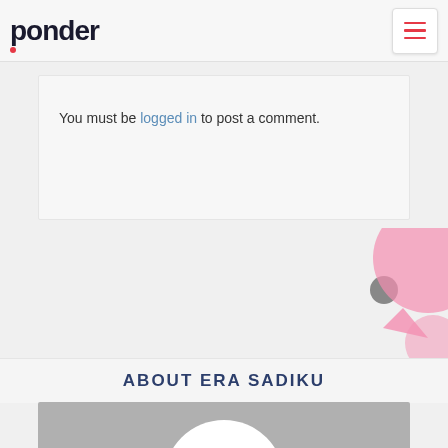ponder
You must be logged in to post a comment.
[Figure (illustration): Decorative background area with pink shapes and a gray circle element partially visible on the right side of the page]
ABOUT ERA SADIKU
[Figure (photo): Gray avatar placeholder image with a white circle representing a default user profile photo]